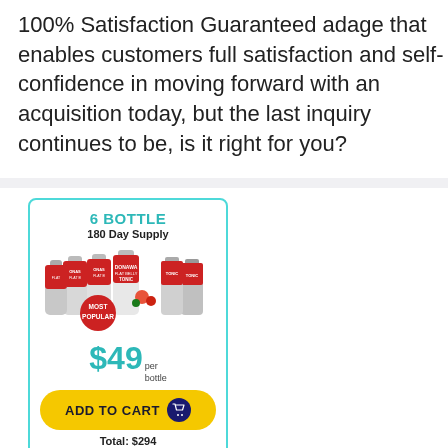100% Satisfaction Guaranteed adage that enables customers full satisfaction and self-confidence in moving forward with an acquisition today, but the last inquiry continues to be, is it right for you?
[Figure (infographic): Product card for Okinawa Flat Belly Tonic 6-bottle 180 Day Supply pack. Shows multiple supplement bottles with a red 'MOST POPULAR' badge. Price listed as $49 per bottle with a yellow 'ADD TO CART' button and total of $294.]